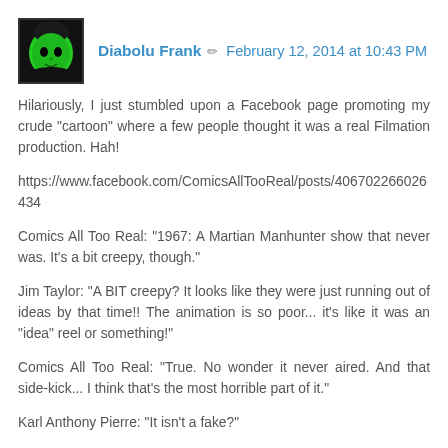Diabolu Frank ✏ February 12, 2014 at 10:43 PM
Hilariously, I just stumbled upon a Facebook page promoting my crude "cartoon" where a few people thought it was a real Filmation production. Hah!
https://www.facebook.com/ComicsAllTooReal/posts/406702266026434
Comics All Too Real: "1967: A Martian Manhunter show that never was. It's a bit creepy, though."
Jim Taylor: "A BIT creepy? It looks like they were just running out of ideas by that time!! The animation is so poor... it's like it was an "idea" reel or something!"
Comics All Too Real: "True. No wonder it never aired. And that side-kick... I think that's the most horrible part of it."
Karl Anthony Pierre: "It isn't a fake?"
Comics All Too Real: "Well, it did never air. And it is in line